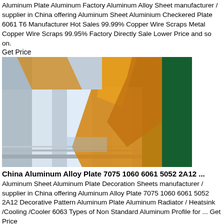Aluminum Plate Aluminum Factory Aluminum Alloy Sheet manufacturer / supplier in China offering Aluminum Sheet Aluminium Checkered Plate 6061 T6 Manufacturer Hot Sales 99.99% Copper Wire Scraps Metal Copper Wire Scraps 99.95% Factory Directly Sale Lower Price and so on.
Get Price
[Figure (photo): Stacked aluminum alloy sheets/plates with orange/yellow protective wrapping, placed on a green surface in what appears to be a factory or warehouse setting.]
China Aluminum Alloy Plate 7075 1060 6061 5052 2A12 ...
Aluminum Sheet Aluminum Plate Decoration Sheets manufacturer / supplier in China offering Aluminum Alloy Plate 7075 1060 6061 5052 2A12 Decorative Pattern Aluminum Plate Aluminum Radiator / Heatsink /Cooling /Cooler 6063 Types of Non Standard Aluminum Profile for ... Get Price
[Figure (photo): Bottom portion of another aluminum sheet/plate product photo showing metallic surface with orange/brown packaging material.]